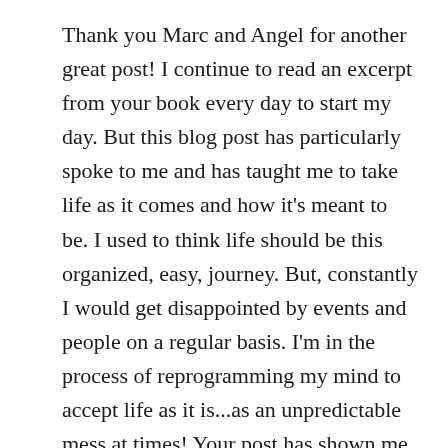Thank you Marc and Angel for another great post! I continue to read an excerpt from your book every day to start my day. But this blog post has particularly spoke to me and has taught me to take life as it comes and how it's meant to be. I used to think life should be this organized, easy, journey. But, constantly I would get disappointed by events and people on a regular basis. I'm in the process of reprogramming my mind to accept life as it is...as an unpredictable mess at times! Your post has shown me that I'm actually at the right place and the right time, and I have been able to relax more. I also try not to spend time worrying about the things out of